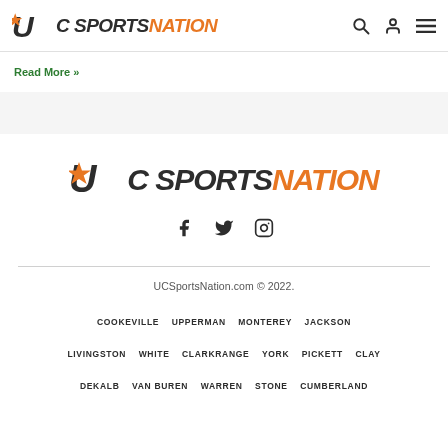UC SPORTS NATION
Read More »
[Figure (logo): UC Sports Nation logo with orange star in the U, dark text for UC SPORTS, orange text for NATION]
[Figure (infographic): Social media icons: Facebook, Twitter, Instagram]
UCSportsNation.com © 2022.
COOKEVILLE  UPPERMAN  MONTEREY  JACKSON
LIVINGSTON  WHITE  CLARKRANGE  YORK  PICKETT  CLAY
DEKALB  VAN BUREN  WARREN  STONE  CUMBERLAND